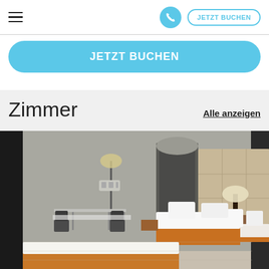≡   [phone]   JETZT BUCHEN
JETZT BUCHEN
Zimmer
Alle anzeigen
[Figure (photo): Hotel room interior with two beds with white linens on wooden bed frames, a padded tan headboard, bedside table with tall dark lamp, and a dining table area with chairs on the left side. Light gray walls and light tile flooring.]